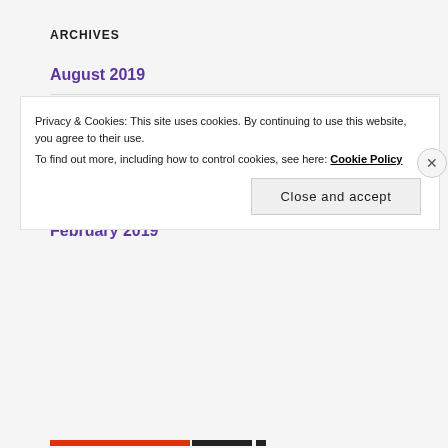ARCHIVES
August 2019
May 2019
April 2019
March 2019
February 2019
Privacy & Cookies: This site uses cookies. By continuing to use this website, you agree to their use.
To find out more, including how to control cookies, see here: Cookie Policy
Close and accept